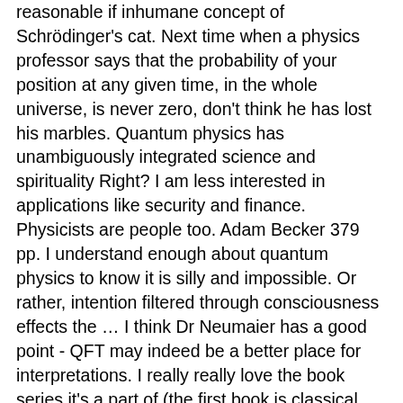reasonable if inhumane concept of Schrödinger's cat. Next time when a physics professor says that the probability of your position at any given time, in the whole universe, is never zero, don't think he has lost his marbles. Quantum physics has unambiguously integrated science and spirituality Right? I am less interested in applications like security and finance. Physicists are people too. Adam Becker 379 pp. I understand enough about quantum physics to know it is silly and impossible. Or rather, intention filtered through consciousness effects the … I think Dr Neumaier has a good point - QFT may indeed be a better place for interpretations. I really really love the book series it's a part of (the first book is classical mechanics, this is the Therefore, for quantum cosmology to exist at all, must it be that I am like a God who can take an action on the universe from outside it. Quantum physics is a fundamental theory in physics which describes nature at the smallest scales of energy levels of atoms and subatomic particles. With the exception of people with visual impairments, we all know what red is like, but we have no way to